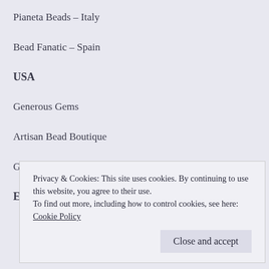Pianeta Beads – Italy
Bead Fanatic – Spain
USA
Generous Gems
Artisan Bead Boutique
Great Lake Boutique
Europe
Privacy & Cookies: This site uses cookies. By continuing to use this website, you agree to their use.
To find out more, including how to control cookies, see here: Cookie Policy
Close and accept